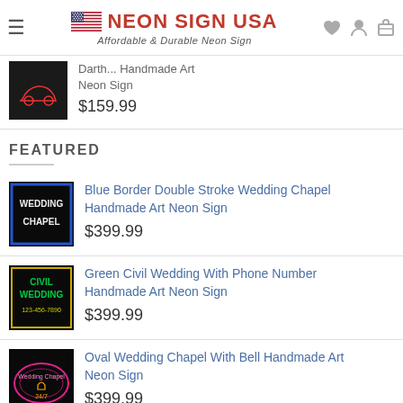NEON SIGN USA — Affordable & Durable Neon Sign
[Figure (photo): Partial product image of a neon sign (dark background, red neon design)]
Darth... Handmade Art Neon Sign
$159.99
FEATURED
[Figure (photo): Blue Border Double Stroke Wedding Chapel neon sign on black background]
Blue Border Double Stroke Wedding Chapel Handmade Art Neon Sign
$399.99
[Figure (photo): Green Civil Wedding With Phone Number neon sign showing CIVIL WEDDING and 123-456-7890]
Green Civil Wedding With Phone Number Handmade Art Neon Sign
$399.99
[Figure (photo): Oval Wedding Chapel With Bell neon sign on black background showing Wedding Chapel 24/7]
Oval Wedding Chapel With Bell Handmade Art Neon Sign
$399.99
[Figure (photo): Partial view of a pink/magenta neon sign (bottom of page, cropped)]